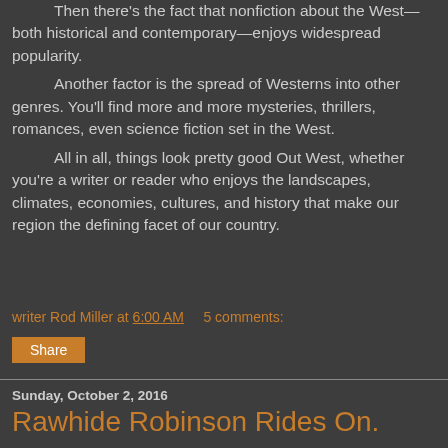Then there's the fact that nonfiction about the West—both historical and contemporary—enjoys widespread popularity.

Another factor is the spread of Westerns into other genres. You'll find more and more mysteries, thrillers, romances, even science fiction set in the West.

All in all, things look pretty good Out West, whether you're a writer or reader who enjoys the landscapes, climates, economies, cultures, and history that make our region the defining facet of our country.
writer Rod Miller at 6:00 AM    5 comments:
Share
Sunday, October 2, 2016
Rawhide Robinson Rides On.